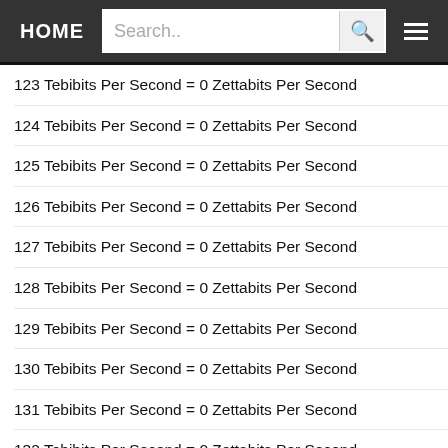HOME | Search..
123 Tebibits Per Second = 0 Zettabits Per Second
124 Tebibits Per Second = 0 Zettabits Per Second
125 Tebibits Per Second = 0 Zettabits Per Second
126 Tebibits Per Second = 0 Zettabits Per Second
127 Tebibits Per Second = 0 Zettabits Per Second
128 Tebibits Per Second = 0 Zettabits Per Second
129 Tebibits Per Second = 0 Zettabits Per Second
130 Tebibits Per Second = 0 Zettabits Per Second
131 Tebibits Per Second = 0 Zettabits Per Second
132 Tebibits Per Second = 0 Zettabits Per Second
133 Tebibits Per Second = 0 Zettabits Per Second